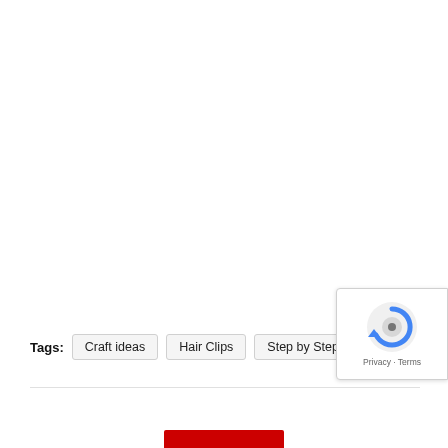Tags: Craft ideas  Hair Clips  Step by Step  Tutorial
[Figure (other): Google reCAPTCHA badge overlay with rotating arrow icon and 'Privacy - Terms' text]